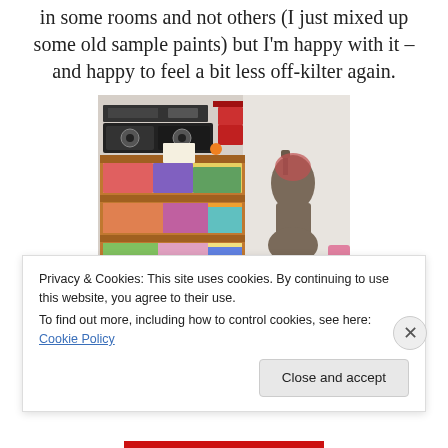in some rooms and not others (I just mixed up some old sample paints) but I'm happy with it – and happy to feel a bit less off-kilter again.
[Figure (photo): A sewing/craft room showing a wooden shelving unit filled with colorful folded fabrics and a boombox on top, next to a dressmaker's mannequin on a teal stool.]
Privacy & Cookies: This site uses cookies. By continuing to use this website, you agree to their use.
To find out more, including how to control cookies, see here: Cookie Policy